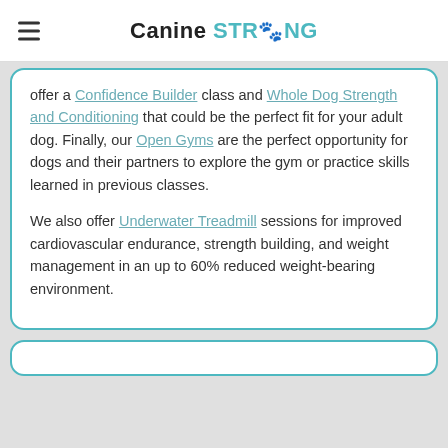Canine STRONG
offer a Confidence Builder class and Whole Dog Strength and Conditioning that could be the perfect fit for your adult dog. Finally, our Open Gyms are the perfect opportunity for dogs and their partners to explore the gym or practice skills learned in previous classes.

We also offer Underwater Treadmill sessions for improved cardiovascular endurance, strength building, and weight management in an up to 60% reduced weight-bearing environment.